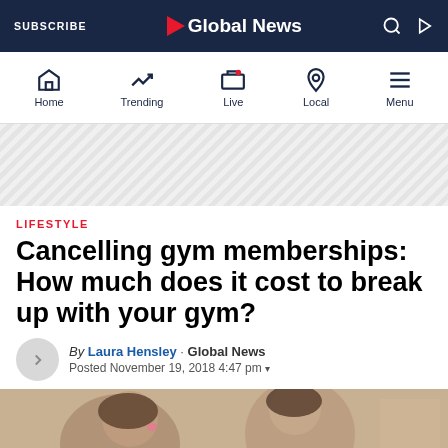SUBSCRIBE | Global News
[Figure (screenshot): Global News navigation bar with Home, Trending, Live, Local, Menu icons]
[Figure (other): Advertisement/banner placeholder with diagonal stripe pattern]
LIFESTYLE
Cancelling gym memberships: How much does it cost to break up with your gym?
By Laura Hensley · Global News
Posted November 19, 2018 4:47 pm
[Figure (photo): Photo of people at a gym, partially visible at bottom of page]